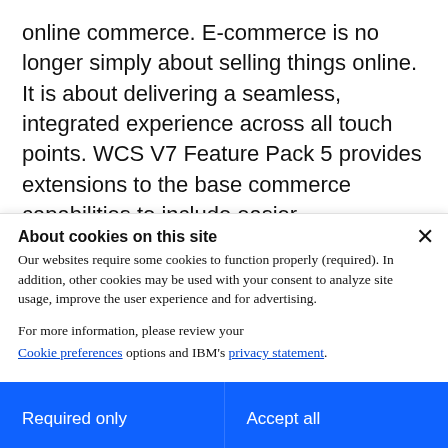online commerce. E-commerce is no longer simply about selling things online. It is about delivering a seamless, integrated experience across all touch points. WCS V7 Feature Pack 5 provides extensions to the base commerce capabilities to include easier implementation of the starter store, social networking, and so on. In addition to Feature Pack 5, support for Feature Packs 1-4 are also included. For more information, refer to
About cookies on this site
Our websites require some cookies to function properly (required). In addition, other cookies may be used with your consent to analyze site usage, improve the user experience and for advertising.
For more information, please review your Cookie preferences options and IBM's privacy statement.
Required only
Accept all